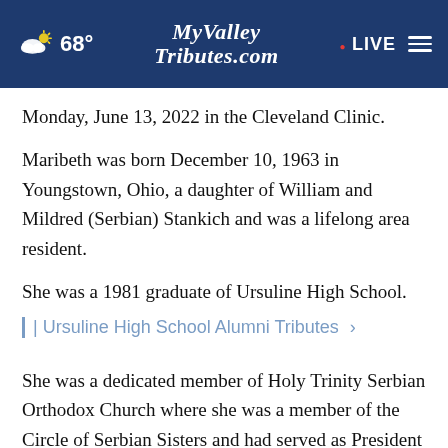MyValleyTributes.com | 68° | LIVE
Monday, June 13, 2022 in the Cleveland Clinic.
Maribeth was born December 10, 1963 in Youngstown, Ohio, a daughter of William and Mildred (Serbian) Stankich and was a lifelong area resident.
She was a 1981 graduate of Ursuline High School.
| Ursuline High School Alumni Tributes >
She was a dedicated member of Holy Trinity Serbian Orthodox Church where she was a member of the Circle of Serbian Sisters and had served as President